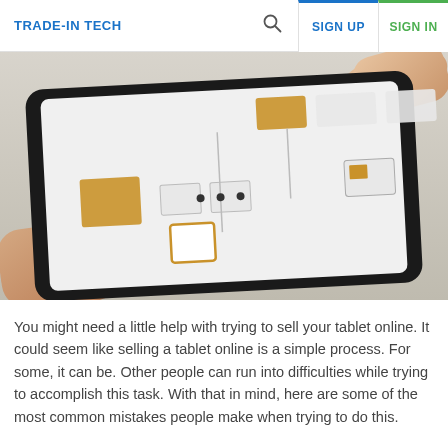TRADE-IN TECH  SIGN UP  SIGN IN
[Figure (photo): Hands holding a tablet device displaying a flowchart or wireframe diagram with gold/orange and white boxes on a light background.]
You might need a little help with trying to sell your tablet online. It could seem like selling a tablet online is a simple process. For some, it can be. Other people can run into difficulties while trying to accomplish this task. With that in mind, here are some of the most common mistakes people make when trying to do this.